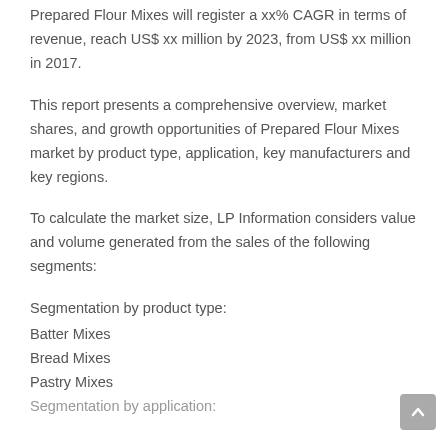Prepared Flour Mixes will register a xx% CAGR in terms of revenue, reach US$ xx million by 2023, from US$ xx million in 2017.
This report presents a comprehensive overview, market shares, and growth opportunities of Prepared Flour Mixes market by product type, application, key manufacturers and key regions.
To calculate the market size, LP Information considers value and volume generated from the sales of the following segments:
Segmentation by product type:
Batter Mixes
Bread Mixes
Pastry Mixes
Segmentation by application: